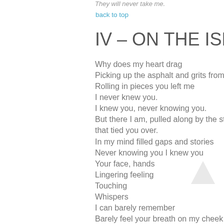They will never take me.
back to top
IV – ON THE ISLAND
Why does my heart drag
Picking up the asphalt and grits from the road
Rolling in pieces you left me
I never knew you.
I knew you, never knowing you.
But there I am, pulled along by the strings that tied you over.
In my mind filled gaps and stories
Never knowing you I knew you
Your face, hands
Lingering feeling
Touching
Whispers
I can barely remember
Barely feel your breath on my cheek
Whispering things
Happy, Blissful happy
It meant